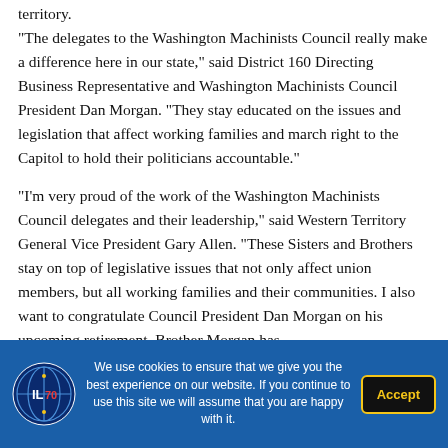territory.
“The delegates to the Washington Machinists Council really make a difference here in our state,” said District 160 Directing Business Representative and Washington Machinists Council President Dan Morgan. “They stay educated on the issues and legislation that affect working families and march right to the Capitol to hold their politicians accountable.”
“I’m very proud of the work of the Washington Machinists Council delegates and their leadership,” said Western Territory General Vice President Gary Allen. “These Sisters and Brothers stay on top of legislative issues that not only affect union members, but all working families and their communities. I also want to congratulate Council President Dan Morgan on his upcoming retirement. Brother Morgan has
We use cookies to ensure that we give you the best experience on our website. If you continue to use this site we will assume that you are happy with it.